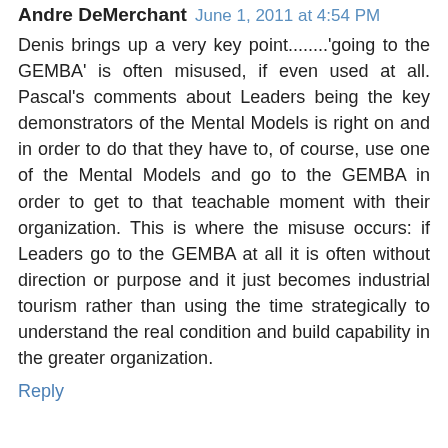Andre DeMerchant  June 1, 2011 at 4:54 PM
Denis brings up a very key point........'going to the GEMBA' is often misused, if even used at all. Pascal's comments about Leaders being the key demonstrators of the Mental Models is right on and in order to do that they have to, of course, use one of the Mental Models and go to the GEMBA in order to get to that teachable moment with their organization. This is where the misuse occurs: if Leaders go to the GEMBA at all it is often without direction or purpose and it just becomes industrial tourism rather than using the time strategically to understand the real condition and build capability in the greater organization.
Reply
Al Norval  June 1, 2011 at 8:54 PM
Go to Gemba witha a purpose - what a novel concept!
The purpose of Going to Gemba is: